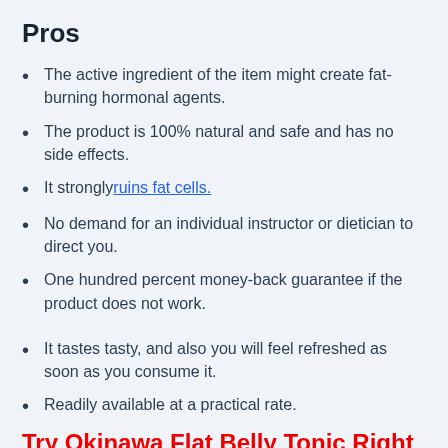Pros
The active ingredient of the item might create fat-burning hormonal agents.
The product is 100% natural and safe and has no side effects.
It strongly ruins fat cells.
No demand for an individual instructor or dietician to direct you.
One hundred percent money-back guarantee if the product does not work.
It tastes tasty, and also you will feel refreshed as soon as you consume it.
Readily available at a practical rate.
Try Okinawa Flat Belly Tonic Right